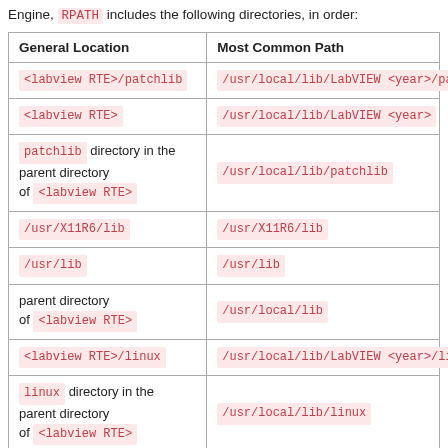Engine, RPATH includes the following directories, in order:
| General Location | Most Common Path |
| --- | --- |
| <labview RTE>/patchlib | /usr/local/lib/LabVIEW <year>/patc… |
| <labview RTE> | /usr/local/lib/LabVIEW <year> |
| patchlib directory in the parent directory of <labview RTE> | /usr/local/lib/patchlib |
| /usr/X11R6/lib | /usr/X11R6/lib |
| /usr/lib | /usr/lib |
| parent directory of <labview RTE> | /usr/local/lib |
| <labview RTE>/linux | /usr/local/lib/LabVIEW <year>/linu… |
| linux directory in the parent directory of <labview RTE> | /usr/local/lib/linux |
| resource directory in the parent directory | /usr/local/lib/resource |